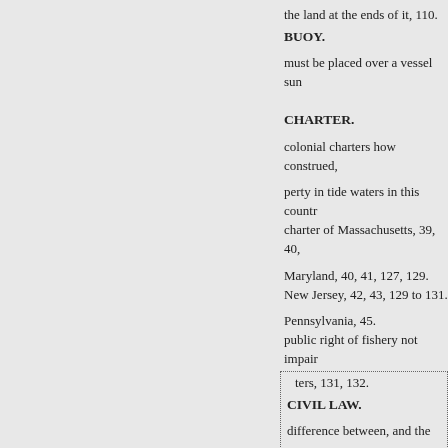the land at the ends of it, 110.
BUOY.
must be placed over a vessel sun
CHARTER.
colonial charters how construed,
perty in tide waters in this countr
charter of Massachusetts, 39, 40,
Maryland, 40, 41, 127, 129.
New Jersey, 42, 43, 129 to 131.
Pennsylvania, 45.
public right of fishery not impair
ters, 131, 132.
CIVIL LAW.
difference between, and the cor
property in tide waters.
See Common Law.
fishery in tide waters public, un
prevails in Louisiana, 45.
COMMISSIONERS OF SEWE